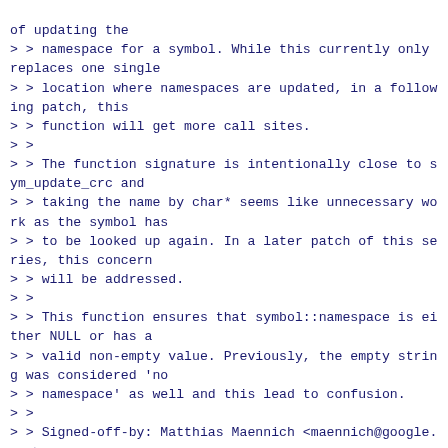of updating the
> > namespace for a symbol. While this currently only replaces one single
> > location where namespaces are updated, in a following patch, this
> > function will get more call sites.
> >
> > The function signature is intentionally close to sym_update_crc and
> > taking the name by char* seems like unnecessary work as the symbol has
> > to be looked up again. In a later patch of this series, this concern
> > will be addressed.
> >
> > This function ensures that symbol::namespace is either NULL or has a
> > valid non-empty value. Previously, the empty string was considered 'no
> > namespace' as well and this lead to confusion.
> >
> > Signed-off-by: Matthias Maennich <maennich@google.com>
> > ---
> >  scripts/mod/modpost.c | 21 +++++++++++++++++---
> >  1 file changed, 18 insertions(+), 3 deletions(-)
> >
> > diff --git a/scripts/mod/modpost.c b/scripts/mod/modpost.c
> > index 4d2cdb4d71e3..9f5dcdff4d2f 100644